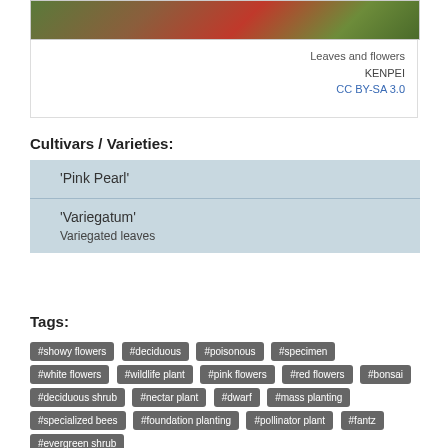[Figure (photo): Photo of leaves and flowers of a plant, showing red flowers and green leaves]
Leaves and flowers
KENPEI
CC BY-SA 3.0
Cultivars / Varieties:
| Cultivar | Description |
| --- | --- |
| 'Pink Pearl' |  |
| 'Variegatum' | Variegated leaves |
Tags:
#showy flowers
#deciduous
#poisonous
#specimen
#white flowers
#wildlife plant
#pink flowers
#red flowers
#bonsai
#deciduous shrub
#nectar plant
#dwarf
#mass planting
#specialized bees
#foundation planting
#pollinator plant
#fantz
#evergreen shrub